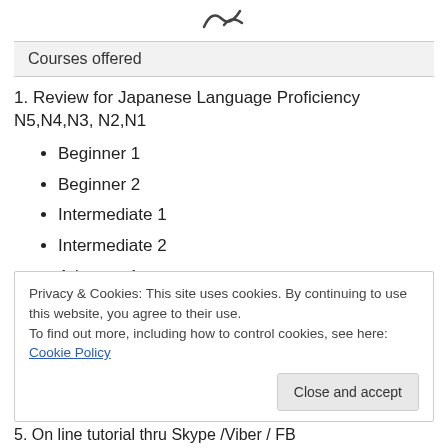[Figure (logo): Stylized Japanese/cursive logo mark at top center]
Courses offered
1. Review for Japanese Language Proficiency N5,N4,N3, N2,N1
Beginner 1
Beginner 2
Intermediate 1
Intermediate 2
Advance 1
Advance 2
Privacy & Cookies: This site uses cookies. By continuing to use this website, you agree to their use.
To find out more, including how to control cookies, see here: Cookie Policy
Close and accept
5. On line tutorial thru Skype /Viber / FB